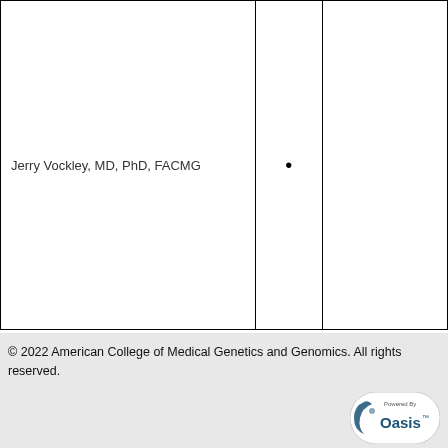| Jerry Vockley, MD, PhD, FACMG | • |  |
© 2022 American College of Medical Genetics and Genomics. All rights reserved.